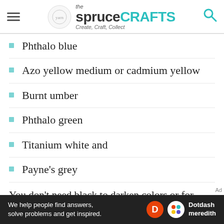the spruce CRAFTS — Create, Craft, Collect
Phthalo blue
Azo yellow medium or cadmium yellow
Burnt umber
Phthalo green
Titanium white and
Payne's grey
You don't need black to darken colors or for shadows as mixtures of the other colors will give dark colors. We personally like cadmium
We help people find answers, solve problems and get inspired. Dotdash meredith